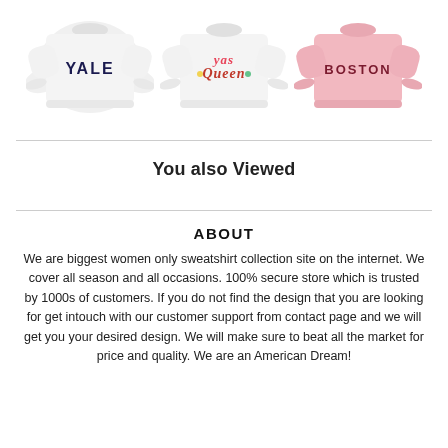[Figure (photo): Three sweatshirts displayed side by side: a white sweatshirt with 'YALE' in dark letters, a white sweatshirt with 'yas queen' in colorful script, and a pink sweatshirt with 'BOSTON' in dark red letters.]
You also Viewed
ABOUT
We are biggest women only sweatshirt collection site on the internet. We cover all season and all occasions. 100% secure store which is trusted by 1000s of customers. If you do not find the design that you are looking for get intouch with our customer support from contact page and we will get you your desired design. We will make sure to beat all the market for price and quality. We are an American Dream!